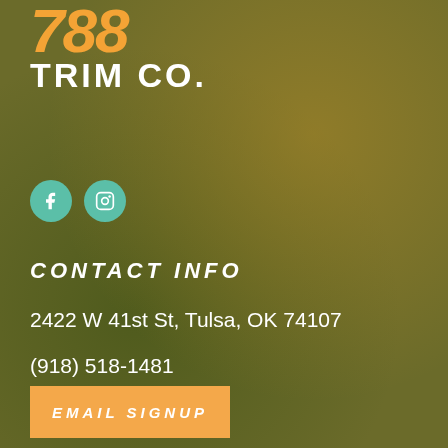788 TRIM CO.
[Figure (infographic): Two circular teal social media icons: Facebook (f) and Instagram (camera)]
CONTACT INFO
2422 W 41st St, Tulsa, OK 74107
(918) 518-1481
info@788trimco.com
EMAIL SIGNUP